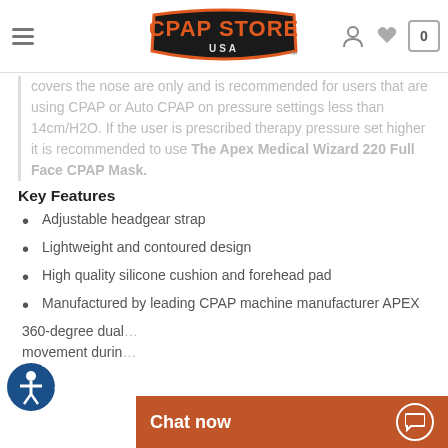CPAP Store USA
creates a... pressure... covers the nose are only and is recommended for users that are using CPAP or Auto CPAP on pressure settings less than 14cm/H2O. If the user is prescribed therapy pressure set higher it is recommended to use The Apex Medical Wizard 220 Full Face CPAP Mask.
Key Features
Adjustable headgear strap
Lightweight and contoured design
High quality silicone cushion and forehead pad
Manufactured by leading CPAP machine manufacturer APEX
360-degree dual... movement durin...